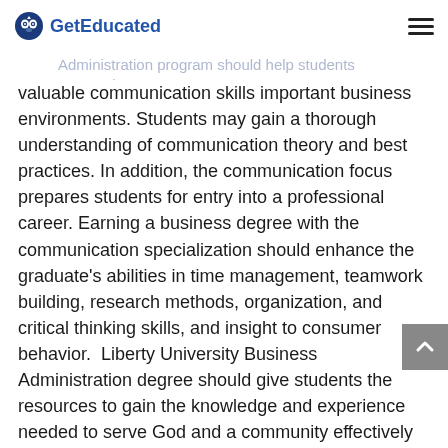GetEducated
valuable communication skills important business environments. Students may gain a thorough understanding of communication theory and best practices. In addition, the communication focus prepares students for entry into a professional career. Earning a business degree with the communication specialization should enhance the graduate's abilities in time management, teamwork building, research methods, organization, and critical thinking skills, and insight to consumer behavior.  Liberty University Business Administration degree should give students the resources to gain the knowledge and experience needed to serve God and a community effectively as an expert in the business fields.
The Bachelor of Science in Business Administration degree program should give graduates the competitive advantage in current or future career endeavors.  The opportunities for entry-level job placement may be obtainable with the